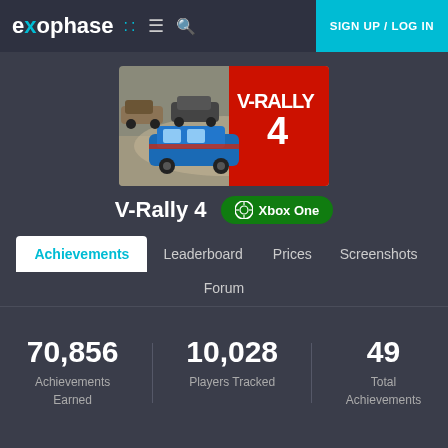exophase :: [menu] [search] SIGN UP / LOG IN
[Figure (screenshot): V-Rally 4 game cover art showing racing cars including a blue rally car in the foreground with 'V-RALLY 4' branding on a red background]
V-Rally 4  Xbox One
Achievements  Leaderboard  Prices  Screenshots  Forum
70,856 Achievements Earned   10,028 Players Tracked   49 Total Achievements